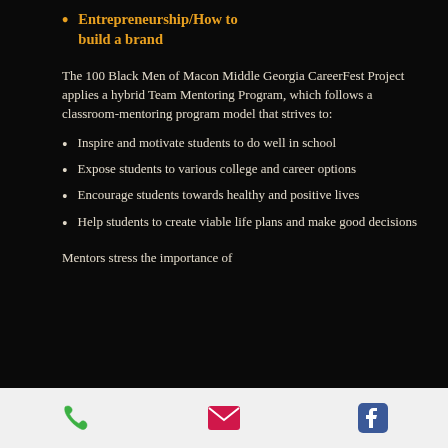Entrepreneurship/How to build a brand
The 100 Black Men of Macon Middle Georgia CareerFest Project applies a hybrid Team Mentoring Program, which follows a classroom-mentoring program model that strives to:
Inspire and motivate students to do well in school
Expose students to various college and career options
Encourage students towards healthy and positive lives
Help students to create viable life plans and make good decisions
Mentors stress the importance of
[phone] [email] [facebook]